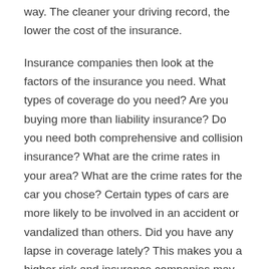way. The cleaner your driving record, the lower the cost of the insurance.
Insurance companies then look at the factors of the insurance you need. What types of coverage do you need? Are you buying more than liability insurance? Do you need both comprehensive and collision insurance? What are the crime rates in your area? What are the crime rates for the car you chose? Certain types of cars are more likely to be involved in an accident or vandalized than others. Did you have any lapse in coverage lately? This makes you a higher risk and insurance companies may increase your premiums accordingly.
Making a Choice